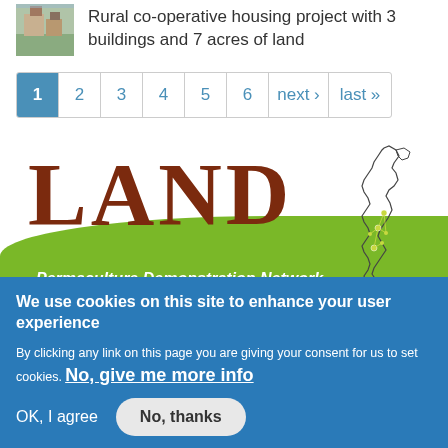[Figure (photo): Small thumbnail photo of a rural building/farm scene]
Rural co-operative housing project with 3 buildings and 7 acres of land
1 2 3 4 5 6 next › last »
[Figure (logo): LAND Permaculture Demonstration Network logo with green hill background and UK map outline]
We use cookies on this site to enhance your user experience
By clicking any link on this page you are giving your consent for us to set cookies. No, give me more info
OK, I agree   No, thanks